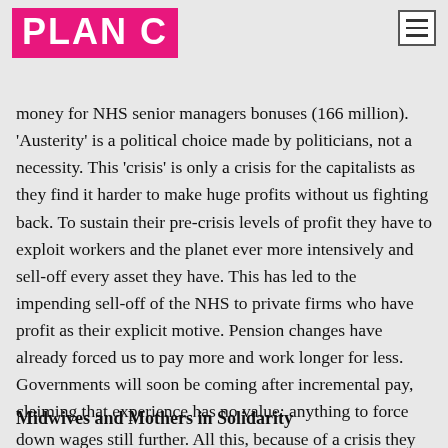PLAN C
money for NHS senior managers bonuses (166 million). 'Austerity' is a political choice made by politicians, not a necessity. This 'crisis' is only a crisis for the capitalists as they find it harder to make huge profits without us fighting back. To sustain their pre-crisis levels of profit they have to exploit workers and the planet ever more intensively and sell-off every asset they have. This has led to the impending sell-off of the NHS to private firms who have profit as their explicit motive. Pension changes have already forced us to pay more and work longer for less. Governments will soon be coming after incremental pay, claiming that experience has no value: anything to force down wages still further. All this, because of a crisis they created, and that they refuse to pay for.
Midwives and Mothers in Solidarity